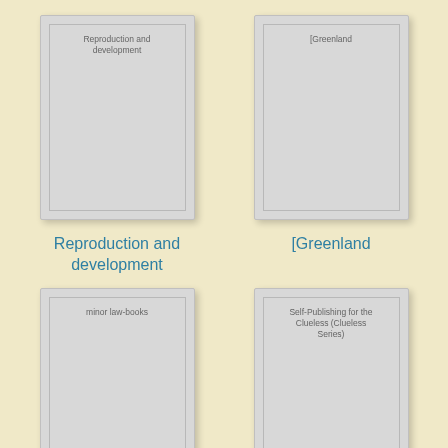[Figure (illustration): Book cover placeholder card with text 'Reproduction and development' at top]
[Figure (illustration): Book cover placeholder card with text '[Greenland' at top]
Reproduction and development
[Greenland
[Figure (illustration): Book cover placeholder card with text 'minor law-books' at top]
[Figure (illustration): Book cover placeholder card with text 'Self-Publishing for the Clueless (Clueless Series)' at top]